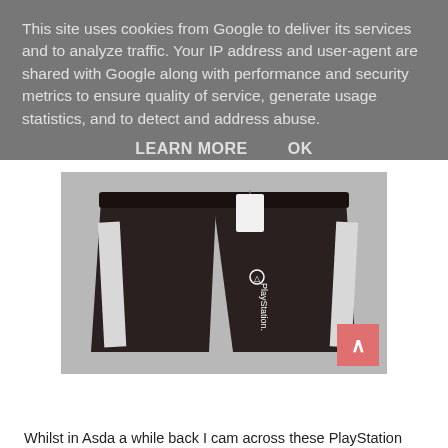This site uses cookies from Google to deliver its services and to analyze traffic. Your IP address and user-agent are shared with Google along with performance and security metrics to ensure quality of service, generate usage statistics, and to detect and address abuse.
LEARN MORE    OK
[Figure (photo): Black PlayStation-branded athletic shorts with white side stripes, laid flat on a light grey surface. A price tag is visible at the waistband. The PlayStation logo is visible on the front right leg.]
Whilst in Asda a while back I cam across these PlayStation